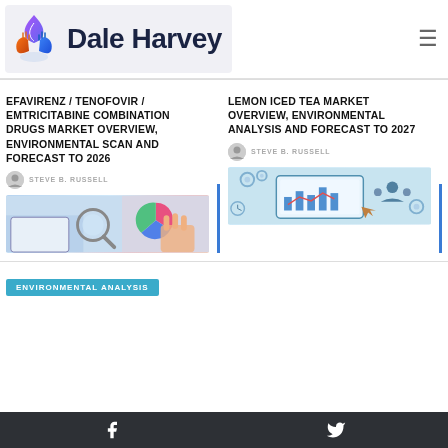Dale Harvey
EFAVIRENZ / TENOFOVIR / EMTRICITABINE COMBINATION DRUGS MARKET OVERVIEW, ENVIRONMENTAL SCAN AND FORECAST TO 2026
STEVE B. RUSSELL
[Figure (photo): Medical/pharmaceutical themed image with charts and magnifying glass]
LEMON ICED TEA MARKET OVERVIEW, ENVIRONMENTAL ANALYSIS AND FORECAST TO 2027
STEVE B. RUSSELL
[Figure (photo): Business/technology themed image with tablet, gears and people icons]
ENVIRONMENTAL ANALYSIS
Facebook | Twitter social icons